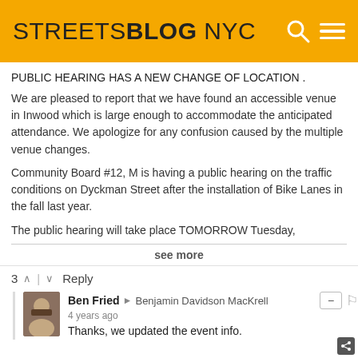[Figure (logo): Streetsblog NYC logo on yellow/orange background with search and menu icons]
PUBLIC HEARING HAS A NEW CHANGE OF LOCATION .
We are pleased to report that we have found an accessible venue in Inwood which is large enough to accommodate the anticipated attendance. We apologize for any confusion caused by the multiple venue changes.
Community Board #12, M is having a public hearing on the traffic conditions on Dyckman Street after the installation of Bike Lanes in the fall last year.
The public hearing will take place TOMORROW Tuesday,
see more
3  ∧  |  ∨  Reply
Ben Fried → Benjamin Davidson MacKrell
4 years ago
Thanks, we updated the event info.